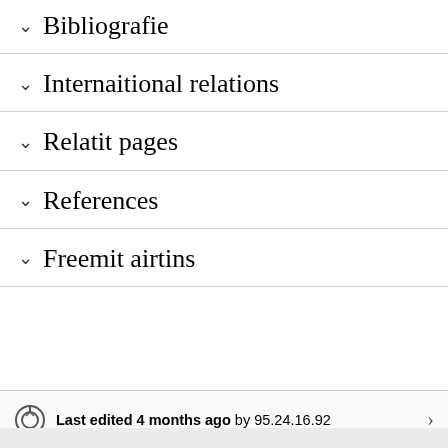Bibliografie
Internaitional relations
Relatit pages
References
Freemit airtins
Last edited 4 months ago by 95.24.16.92